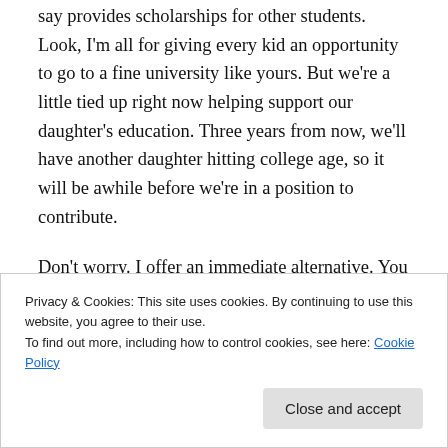say provides scholarships for other students. Look, I'm all for giving every kid an opportunity to go to a fine university like yours. But we're a little tied up right now helping support our daughter's education. Three years from now, we'll have another daughter hitting college age, so it will be awhile before we're in a position to contribute.
Don't worry. I offer an immediate alternative. You don't have to look far to find it.
[Figure (screenshot): Partial view of a framed image or book cover with decorative serif text partially visible, on a gray background]
Privacy & Cookies: This site uses cookies. By continuing to use this website, you agree to their use.
To find out more, including how to control cookies, see here: Cookie Policy